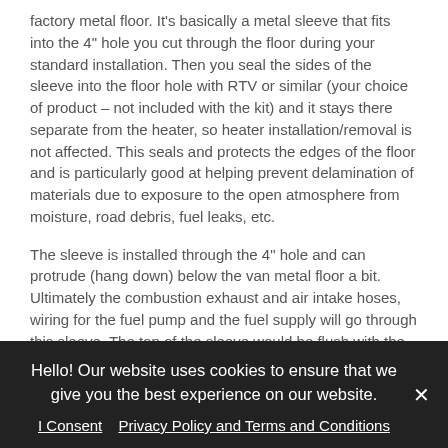factory metal floor. It's basically a metal sleeve that fits into the 4" hole you cut through the floor during your standard installation. Then you seal the sides of the sleeve into the floor hole with RTV or similar (your choice of product – not included with the kit) and it stays there separate from the heater, so heater installation/removal is not affected. This seals and protects the edges of the floor and is particularly good at helping prevent delamination of materials due to exposure to the open atmosphere from moisture, road debris, fuel leaks, etc.
The sleeve is installed through the 4" hole and can protrude (hang down) below the van metal floor a bit. Ultimately the combustion exhaust and air intake hoses, wiring for the fuel pump and the fuel supply will go through this sleeve. The top of the sleeve would be flush with the top of your subfloor. Then you can install the heater with the included plate and
Hello! Our website uses cookies to ensure that we give you the best experience on our website.
I Consent   Privacy Policy and Terms and Conditions